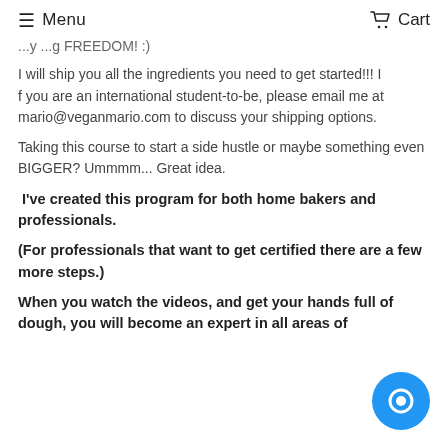Menu   Cart
...y ...g FREEDOM! :)
I will ship you all the ingredients you need to get started!!! I f you are an international student-to-be, please email me at mario@veganmario.com to discuss your shipping options.
Taking this course to start a side hustle or maybe something even BIGGER? Ummmm... Great idea.
I've created this program for both home bakers and professionals.
(For professionals that want to get certified there are a few more steps.)
When you watch the videos, and get your hands full of dough, you will become an expert in all areas of